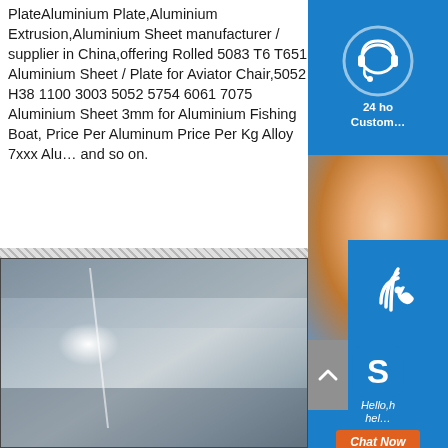PlateAluminium Plate,Aluminium Extrusion,Aluminium Sheet manufacturer / supplier in China,offering Rolled 5083 T6 T651 Aluminium Sheet / Plate for Aviator Chair,5052 H38 1100 3003 5052 5754 6061 7075 Aluminium Sheet 3mm for Aluminium Fishing Boat, Price Per Aluminum Price Per Kg Alloy 7xxx Alu... and so on.
[Figure (screenshot): Customer service sidebar with 24hr support icon (blue), phone support with photo of woman, Skype icon, and orange Chat Now button]
[Figure (photo): Photo of aluminium sheet/plate with reflective metallic surface, light reflection visible]